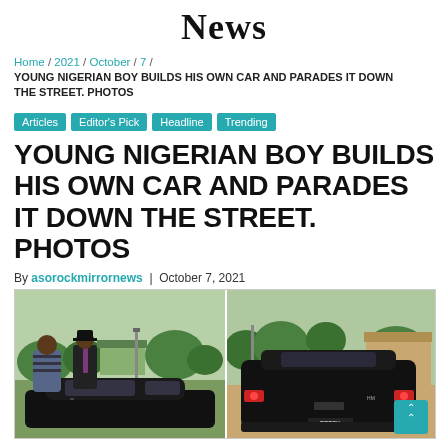News
Home / 2021 / October / 7 /
YOUNG NIGERIAN BOY BUILDS HIS OWN CAR AND PARADES IT DOWN THE STREET. PHOTOS
Articles
Editor's Pick
Headline
Trending
YOUNG NIGERIAN BOY BUILDS HIS OWN CAR AND PARADES IT DOWN THE STREET. PHOTOS
By asorockmirrornews | October 7, 2021
[Figure (photo): Two-panel photo: left panel shows two men standing next to a black homemade car outdoors with green surroundings; right panel shows the rear view of the same black car labeled REEZY parked outdoors with trees and buildings in background.]